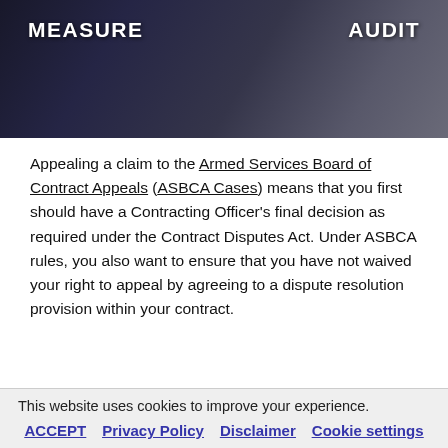[Figure (photo): Photo of people in business suits with text overlays reading 'MEASURE' and 'AUDIT' in white bold letters]
Appealing a claim to the Armed Services Board of Contract Appeals (ASBCA Cases) means that you first should have a Contracting Officer's final decision as required under the Contract Disputes Act. Under ASBCA rules, you also want to ensure that you have not waived your right to appeal by agreeing to a dispute resolution provision within your contract.
This website uses cookies to improve your experience.
ACCEPT  Privacy Policy  Disclaimer  Cookie settings